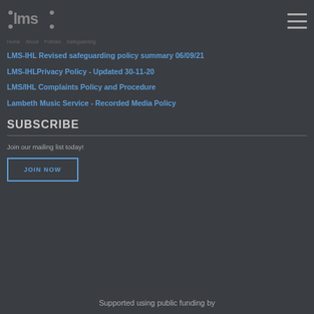[Figure (logo): :LMS: logo text in grey]
LMS-IHL Revised safeguarding policy summary 06/09/21
LMS-IHLPrivacy Policy - Updated 30-11-20
LMS/IHL Complaints Policy and Procedure
Lambeth Music Service - Recorded Media Policy
SUBSCRIBE
Join our mailing list today!
JOIN NOW
Supported using public funding by